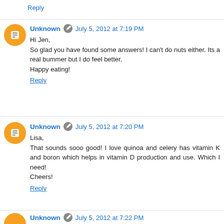Reply
Unknown · July 5, 2012 at 7:19 PM
Hi Jen,
So glad you have found some answers! I can't do nuts either. Its a real bummer but I do feel better.
Happy eating!
Reply
Unknown · July 5, 2012 at 7:20 PM
Lisa,
That sounds sooo good! I love quinoa and celery has vitamin K and boron which helps in vitamin D production and use. Which I need!
Cheers!
Reply
Unknown · July 5, 2012 at 7:22 PM